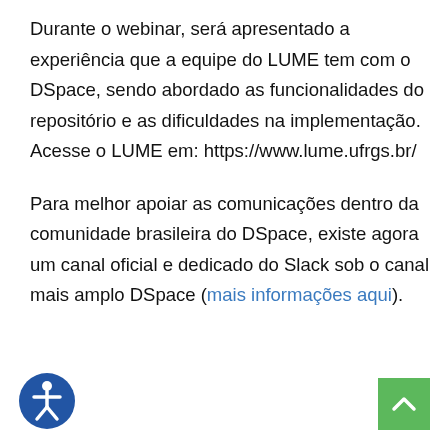Durante o webinar, será apresentado a experiência que a equipe do LUME tem com o DSpace, sendo abordado as funcionalidades do repositório e as dificuldades na implementação. Acesse o LUME em: https://www.lume.ufrgs.br/
Para melhor apoiar as comunicações dentro da comunidade brasileira do DSpace, existe agora um canal oficial e dedicado do Slack sob o canal mais amplo DSpace (mais informações aqui).